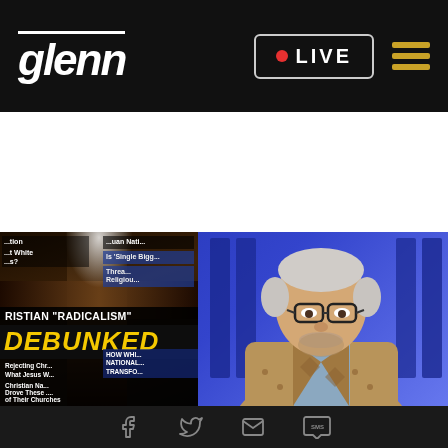glenn | LIVE
[Figure (screenshot): Television broadcast screenshot showing a man with white hair and glasses wearing a patterned jacket, with an overlay card on the left showing a burning cross image with text 'RISTIAN RADICALISM DEBUNKED' in yellow and white letters against a dark background with news headlines snippets]
Facebook | Twitter | Email | SMS